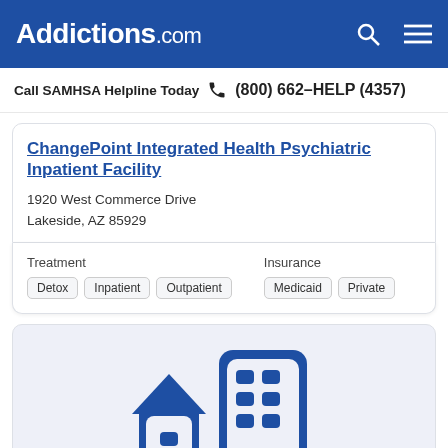Addictions.com
Call SAMHSA Helpline Today  (800) 662-HELP (4357)
ChangePoint Integrated Health Psychiatric Inpatient Facility
1920 West Commerce Drive
Lakeside, AZ 85929
Treatment: Detox, Inpatient, Outpatient
Insurance: Medicaid, Private
[Figure (illustration): Blue icon illustration of a house and a multi-story building with windows, representing a residential/inpatient health facility]